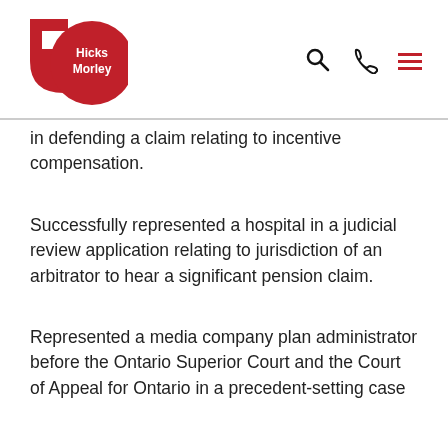[Figure (logo): Hicks Morley 50th anniversary logo — red '5' numeral with red circle containing 'Hicks Morley' in white text, navigation icons (search, phone, hamburger menu) on the right]
in defending a claim relating to incentive compensation.
Successfully represented a hospital in a judicial review application relating to jurisdiction of an arbitrator to hear a significant pension claim.
Represented a media company plan administrator before the Ontario Superior Court and the Court of Appeal for Ontario in a precedent-setting case